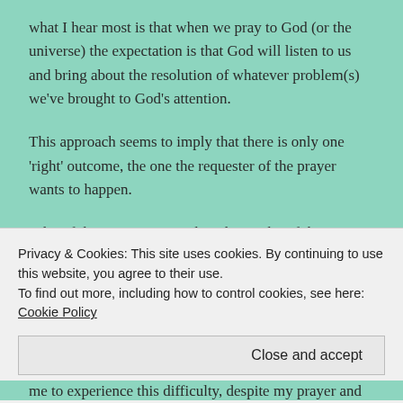what I hear most is that when we pray to God (or the universe) the expectation is that God will listen to us and bring about the resolution of whatever problem(s) we've brought to God's attention.
This approach seems to imply that there is only one 'right' outcome, the one the requester of the prayer wants to happen.
What if there is more to it than this? What if there is an even better answer?
Privacy & Cookies: This site uses cookies. By continuing to use this website, you agree to their use.
To find out more, including how to control cookies, see here: Cookie Policy
Close and accept
me to experience this difficulty, despite my prayer and